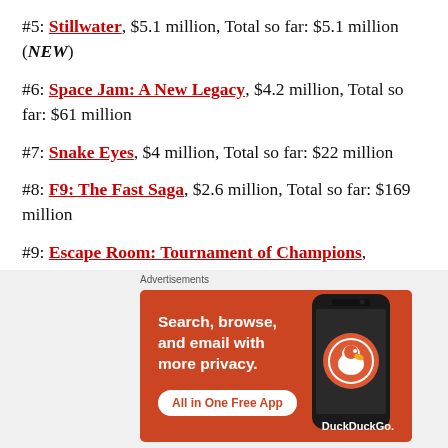#5: Stillwater, $5.1 million, Total so far: $5.1 million (NEW)
#6: Space Jam: A New Legacy, $4.2 million, Total so far: $61 million
#7: Snake Eyes, $4 million, Total so far: $22 million
#8: F9: The Fast Saga, $2.6 million, Total so far: $169 million
#9: Escape Room: Tournament of Champions,
[Figure (screenshot): DuckDuckGo advertisement: Search, browse, and email with more privacy. All in One Free App. Shows a phone with DuckDuckGo logo.]